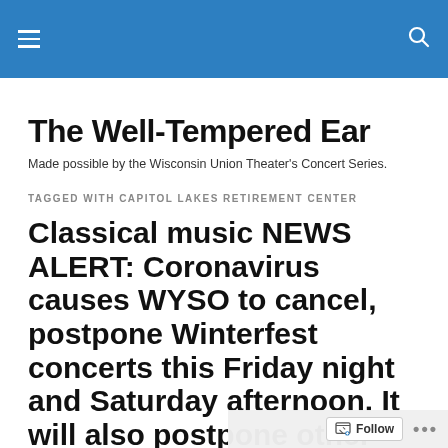The Well-Tempered Ear [navigation bar]
The Well-Tempered Ear
Made possible by the Wisconsin Union Theater's Concert Series.
TAGGED WITH CAPITOL LAKES RETIREMENT CENTER
Classical music NEWS ALERT: Coronavirus causes WYSO to cancel, postpone Winterfest concerts this Friday night and Saturday afternoon. It will also postpone other events…